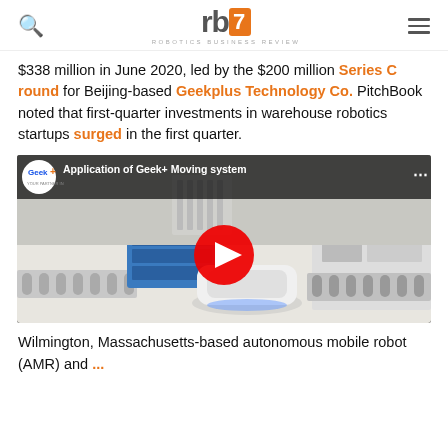Robotics Business Review
$338 million in June 2020, led by the $200 million Series C round for Beijing-based Geekplus Technology Co. PitchBook noted that first-quarter investments in warehouse robotics startups surged in the first quarter.
[Figure (screenshot): YouTube video thumbnail showing Geek+ Moving system application with a warehouse robot on a conveyor line. Video title: 'Application of Geek+ Moving system']
Wilmington, Massachusetts-based autonomous mobile robot (AMR) and...